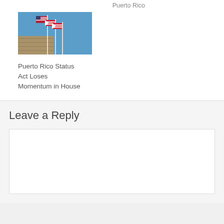Puerto Rico
[Figure (photo): Photograph of flags on flagpoles against a blue sky, with stone fortification wall visible. Flags include US flag and Puerto Rico flag.]
Puerto Rico Status Act Loses Momentum in House
Leave a Reply